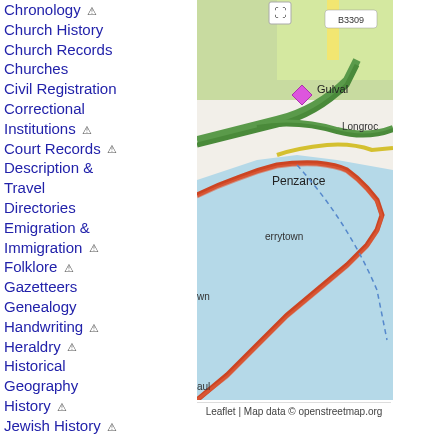Chronology ⚠
Church History
Church Records
Churches
Civil Registration
Correctional Institutions ⚠
Court Records ⚠
Description & Travel
Directories
Emigration & Immigration ⚠
Folklore ⚠
Gazetteers
Genealogy
Handwriting ⚠
Heraldry ⚠
Historical Geography
History ⚠
Jewish History ⚠
[Figure (map): OpenStreetMap showing Penzance area in Cornwall, UK, including locations: Gulval, Longroc, Penzance, errytown, B3309 road, Paul. Shows coastline with blue water body and green inland areas.]
Leaflet | Map data © openstreetmap.org